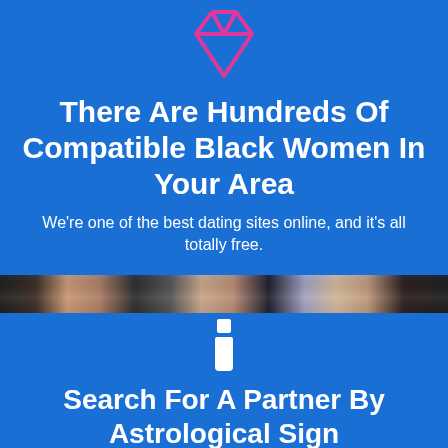[Figure (illustration): Pink diamond/gem icon outline]
There Are Hundreds Of Compatible Black Women In Your Area
We're one of the best dating sites online, and it's all totally free.
[Figure (illustration): Photo strip showing blurred faces of people]
[Figure (illustration): White info (i) icon on blue background]
Search For A Partner By Astrological Sign
Some people don't know that one of the zodiac signs most